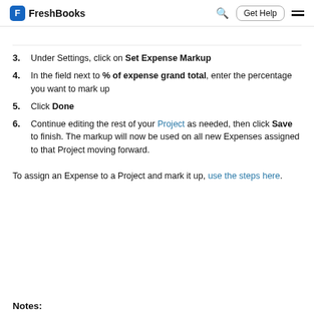FreshBooks | Get Help
3. Under Settings, click on Set Expense Markup
4. In the field next to % of expense grand total, enter the percentage you want to mark up
5. Click Done
6. Continue editing the rest of your Project as needed, then click Save to finish. The markup will now be used on all new Expenses assigned to that Project moving forward.
To assign an Expense to a Project and mark it up, use the steps here.
Notes: